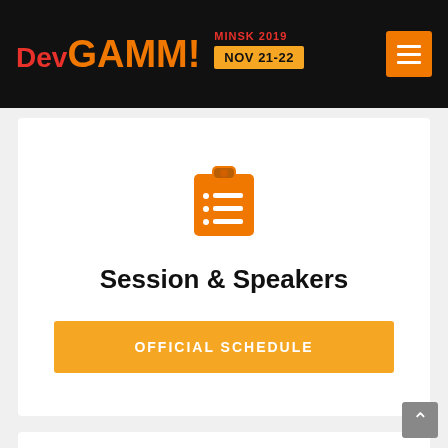[Figure (screenshot): DevGAMM Minsk 2019 website header with logo, NOV 21-22 badge, and hamburger menu button on black background]
[Figure (illustration): Orange clipboard icon with checklist lines]
Session & Speakers
OFFICIAL SCHEDULE
[Figure (illustration): Partial orange icon visible at bottom of page in second card]